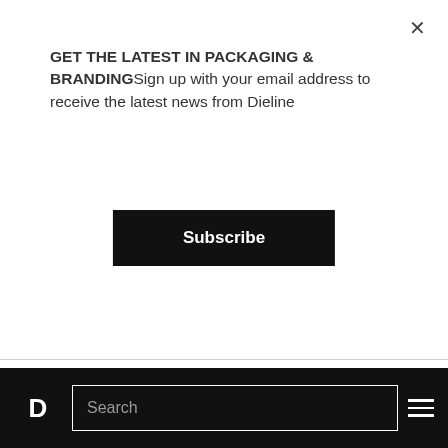GET THE LATEST IN PACKAGING & BRANDINGSign up with your email address to receive the latest news from Dieline
Subscribe
Minute Read
The micro-distillery known as "Uncle Mark Distillery" is one that's founded on passion and grit. These two foundations are visually seen through the packaging designed by Jacomy Mayne + Oveja & Remi. The matte black label features glossy black text creating an eye-
D  Search  ☰